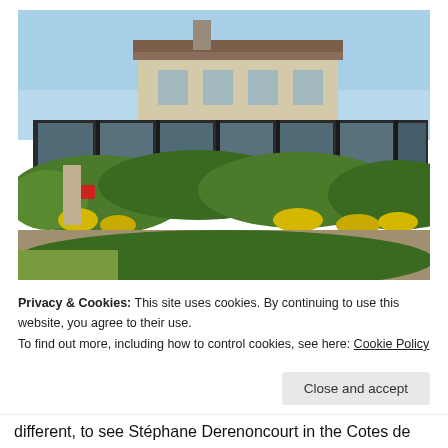[Figure (photo): A modern building with large glass windows and a dark metal frame on the lower level, topped by a traditional stone building with a tiled roof. Lush green bushes and yellow wildflowers are in the foreground under a blue sky.]
Privacy & Cookies: This site uses cookies. By continuing to use this website, you agree to their use.
To find out more, including how to control cookies, see here: Cookie Policy
Close and accept
different, to see Stéphane Derenoncourt in the Cotes de